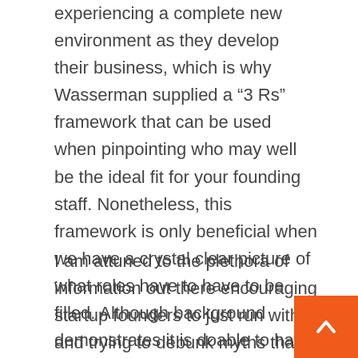experiencing a complete new environment as they develop their business, which is why Wasserman supplied a “3 Rs” framework that can be used when pinpointing who may well be the ideal fit for your founding staff. Nonetheless, this framework is only beneficial when we have a crystal clear picture of what roles have to have to be filled. Although background demonstrates it is doable to have a company that raises funds and exits with just one founder, most superior-gross startup corporations have co-founders.
I am attuned to the plethora of information out there encouraging startup founders to just run with it and trying to debunk myths that you want co-founders. The reality is, these who made a decision to go it by yourself, more often than not, say they wish they had a co-founder to split get the job done, empathize via the